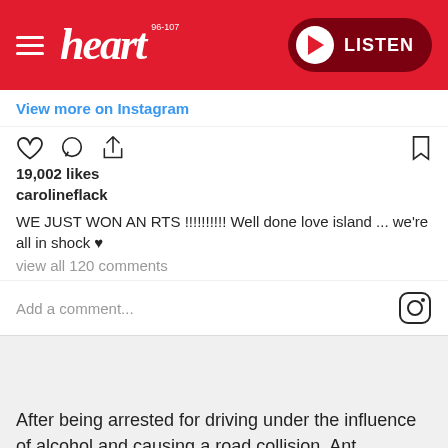[Figure (screenshot): Heart FM website header with red background, hamburger menu, Heart 96-107 logo in white italic, and a LISTEN button with play icon on dark red pill background]
View more on Instagram
[Figure (screenshot): Instagram post embed showing like, comment, share icons, bookmark icon, 19,002 likes, username carolineflack, caption 'WE JUST WON AN RTS !!!!!!!!!! Well done love island ... we're all in shock ♥', view all 120 comments, and Add a comment field with Instagram logo]
After being arrested for driving under the influence of alcohol and causing a road collision, Ant McPartlin announced he would be returning to rehab and taking a break from his work duties.